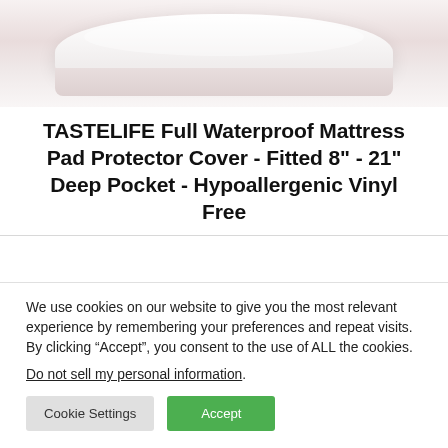[Figure (photo): Product photo of a white mattress pad protector cover, showing the quilted/fitted top surface and side skirt, light pinkish-gray background.]
TASTELIFE Full Waterproof Mattress Pad Protector Cover - Fitted 8" - 21" Deep Pocket - Hypoallergenic Vinyl Free
We use cookies on our website to give you the most relevant experience by remembering your preferences and repeat visits. By clicking “Accept”, you consent to the use of ALL the cookies.
Do not sell my personal information.
Cookie Settings
Accept